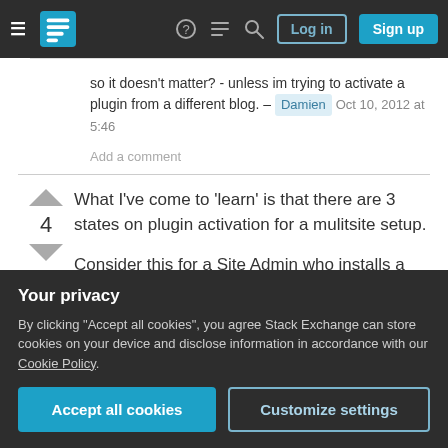Stack Exchange navigation bar with Log in and Sign up buttons
so it doesn't matter? - unless im trying to activate a plugin from a different blog. – Damien  Oct 10, 2012 at 5:46
Add a comment
What I've come to 'learn' is that there are 3 states on plugin activation for a mulitsite setup.
Consider this for a Site Admin who installs a new plugin:
Your privacy
By clicking "Accept all cookies", you agree Stack Exchange can store cookies on your device and disclose information in accordance with our Cookie Policy.
Accept all cookies
Customize settings